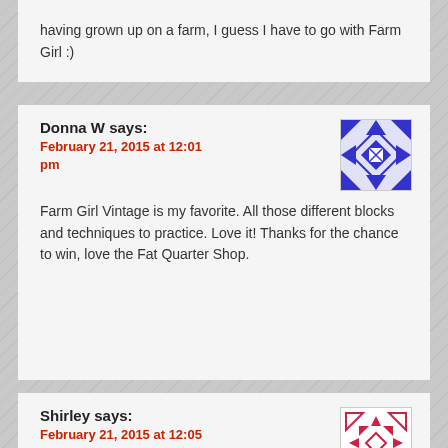having grown up on a farm, I guess I have to go with Farm Girl :)
Donna W says:
February 21, 2015 at 12:01 pm
Farm Girl Vintage is my favorite. All those different blocks and techniques to practice. Love it! Thanks for the chance to win, love the Fat Quarter Shop.
Shirley says:
February 21, 2015 at 12:05 pm
I'm a Libra and hard to make decisions…… love them both, but a little more partial to the Farm